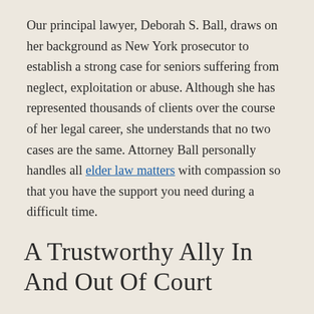Our principal lawyer, Deborah S. Ball, draws on her background as New York prosecutor to establish a strong case for seniors suffering from neglect, exploitation or abuse. Although she has represented thousands of clients over the course of her legal career, she understands that no two cases are the same. Attorney Ball personally handles all elder law matters with compassion so that you have the support you need during a difficult time.
A Trustworthy Ally In And Out Of Court